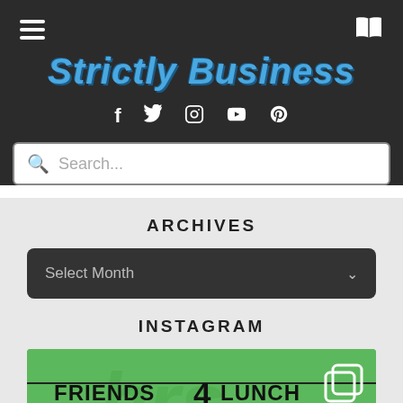Strictly Business
f  Twitter  Instagram  YouTube  Pinterest (social icons)
Search...
ARCHIVES
Select Month
INSTAGRAM
[Figure (photo): Friends4Lunch green promotional image with logo text and Instagram icon overlay]